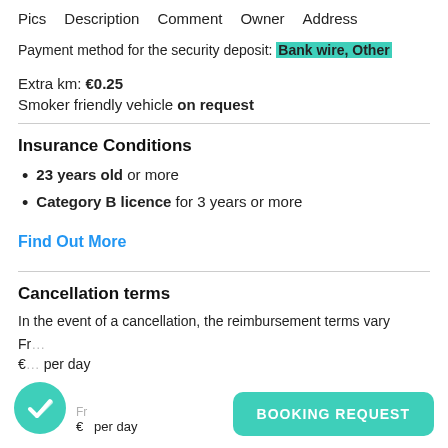Pics   Description   Comment   Owner   Address
Payment method for the security deposit: Bank wire, Other
Extra km: €0.25
Smoker friendly vehicle on request
Insurance Conditions
23 years old or more
Category B licence for 3 years or more
Find Out More
Cancellation terms
In the event of a cancellation, the reimbursement terms vary
Fr… €… per day
BOOKING REQUEST